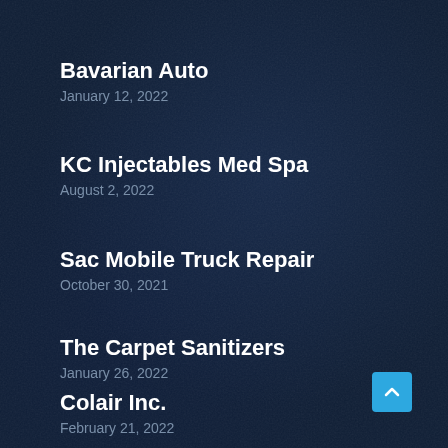Bavarian Auto
January 12, 2022
KC Injectables Med Spa
August 2, 2022
Sac Mobile Truck Repair
October 30, 2021
The Carpet Sanitizers
January 26, 2022
Colair Inc.
February 21, 2022